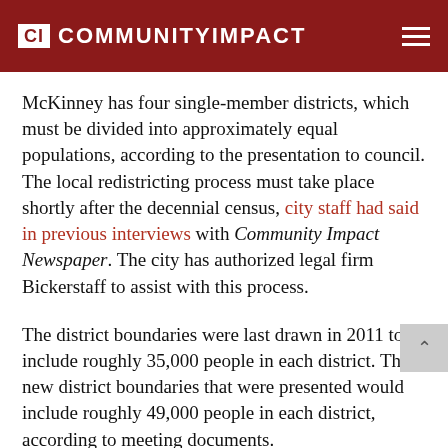CI COMMUNITYIMPACT
McKinney has four single-member districts, which must be divided into approximately equal populations, according to the presentation to council. The local redistricting process must take place shortly after the decennial census, city staff had said in previous interviews with Community Impact Newspaper. The city has authorized legal firm Bickerstaff to assist with this process.
The district boundaries were last drawn in 2011 to include roughly 35,000 people in each district. The new district boundaries that were presented would include roughly 49,000 people in each district, according to meeting documents.